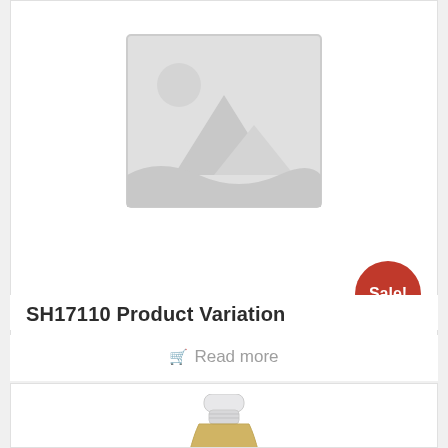[Figure (illustration): Placeholder image with mountain/landscape icon in grey tones]
Sale!
SH17110 Product Variation
Read more
[Figure (photo): Glass bottle with yellow/golden liquid content, partially visible, white cap at top]